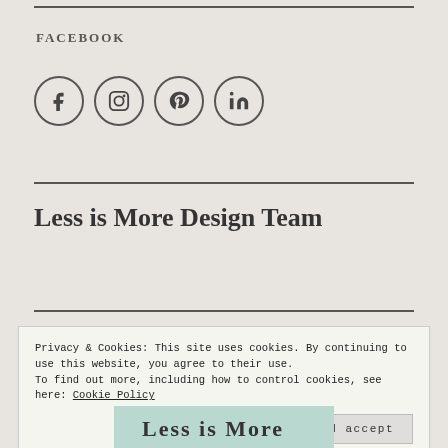FACEBOOK
[Figure (illustration): Four social media icon circles: Facebook, Instagram, Pinterest, LinkedIn]
Less is More Design Team
Privacy & Cookies: This site uses cookies. By continuing to use this website, you agree to their use.
To find out more, including how to control cookies, see here: Cookie Policy
Close and accept
[Figure (photo): Partial image showing 'Less is More' text graphic at bottom of page]